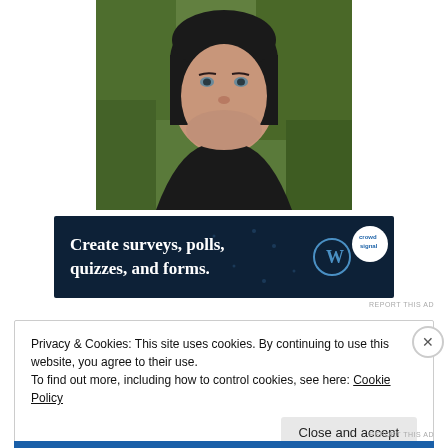[Figure (photo): Portrait photo of a woman with short dark hair wearing a black top, photographed against a green mossy background outdoors.]
[Figure (screenshot): Advertisement banner with dark navy background reading 'Create surveys, polls, quizzes, and forms.' with WordPress and CrowdSignal logos.]
REPORT THIS AD
Privacy & Cookies: This site uses cookies. By continuing to use this website, you agree to their use.
To find out more, including how to control cookies, see here: Cookie Policy
Close and accept